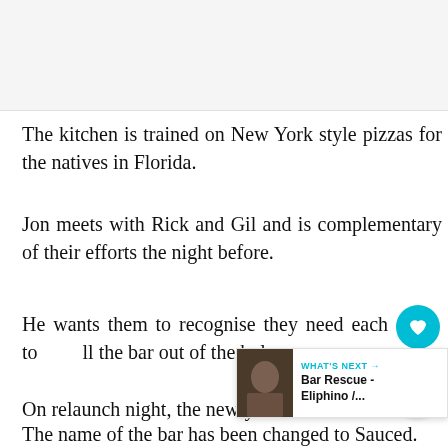[Figure (other): Gray background area at top of page, likely an image placeholder or header image area]
The kitchen is trained on New York style pizzas for the natives in Florida.
Jon meets with Rick and Gil and is complementary of their efforts the night before.
He wants them to recognise they need each other to pull the bar out of the hole.
On relaunch night, the newly renovated bar
The name of the bar has been changed to Sauced.